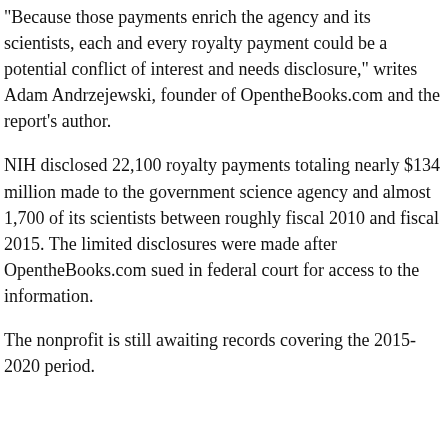"Because those payments enrich the agency and its scientists, each and every royalty payment could be a potential conflict of interest and needs disclosure," writes Adam Andrzejewski, founder of OpentheBooks.com and the report's author.
NIH disclosed 22,100 royalty payments totaling nearly $134 million made to the government science agency and almost 1,700 of its scientists between roughly fiscal 2010 and fiscal 2015. The limited disclosures were made after OpentheBooks.com sued in federal court for access to the information.
The nonprofit is still awaiting records covering the 2015-2020 period.